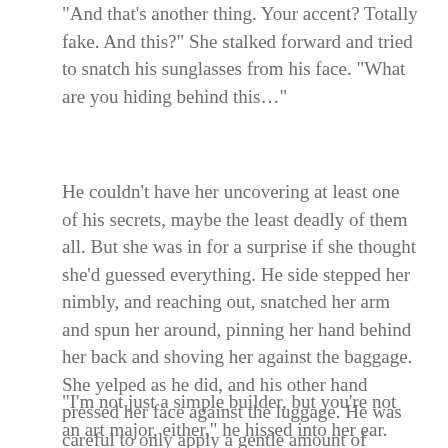“And that’s another thing. Your accent? Totally fake. And this?” She stalked forward and tried to snatch his sunglasses from his face. “What are you hiding behind this…”
He couldn’t have her uncovering at least one of his secrets, maybe the least deadly of them all. But she was in for a surprise if she thought she’d guessed everything. He side stepped her nimbly, and reaching out, snatched her arm and spun her around, pinning her hand behind her back and shoving her against the baggage. She yelped as he did, and his other hand pressed her face against the luggage. He was careful to only apply a gentle amount of pressure, so he didn’t hurt her.
“I’m not just a simple builder, but you’re not an art major, either,” he hissed into her ear.